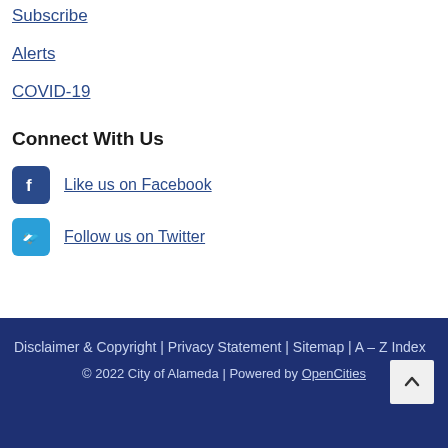Subscribe
Alerts
COVID-19
Connect With Us
Like us on Facebook
Follow us on Twitter
Disclaimer & Copyright | Privacy Statement | Sitemap | A – Z Index
© 2022 City of Alameda | Powered by OpenCities